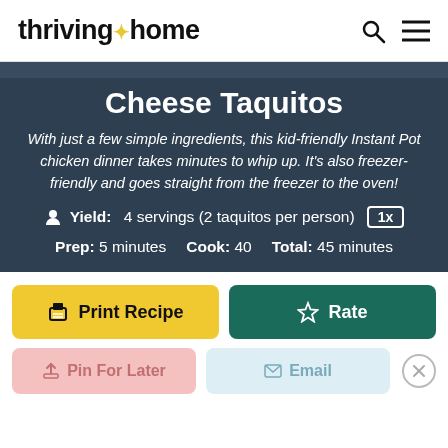thriving * home
Cheese Taquitos
With just a few simple ingredients, this kid-friendly Instant Pot chicken dinner takes minutes to whip up. It's also freezer-friendly and goes straight from the freezer to the oven!
Yield: 4 servings (2 taquitos per person) 1x
Prep: 5 minutes  Cook: 40  Total: 45 minutes
Print Recipe
Rate
Pin For Later
Email